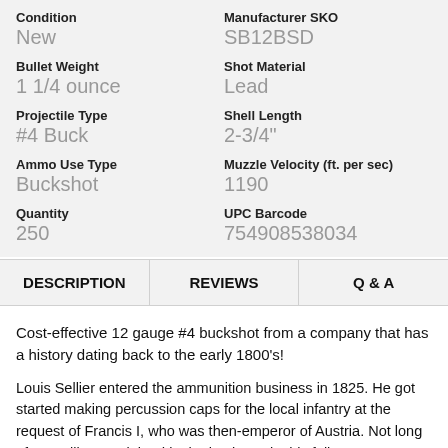Condition
New
Manufacturer SKO
SB12BSD
Bullet Weight
1 1/4 ounce
Shot Material
Lead
Projectile Type
#4 Buck
Shell Length
2-3/4"
Ammo Use Type
Buckshot
Muzzle Velocity (ft. per sec)
1190
Quantity
250
UPC Barcode
754908538034
DESCRIPTION
REVIEWS
Q & A
Cost-effective 12 gauge #4 buckshot from a company that has a history dating back to the early 1800's!
Louis Sellier entered the ammunition business in 1825. He got started making percussion caps for the local infantry at the request of Francis I, who was then-emperor of Austria. Not long after, Sellier was joined in the business by his fellow countryman, Jean Maria Nicolaus Bellot, whose expertise led to Sellier and Bellot becoming a true success. Within 5 years they'd produced more than 60 million percussion caps, and within 7 more years